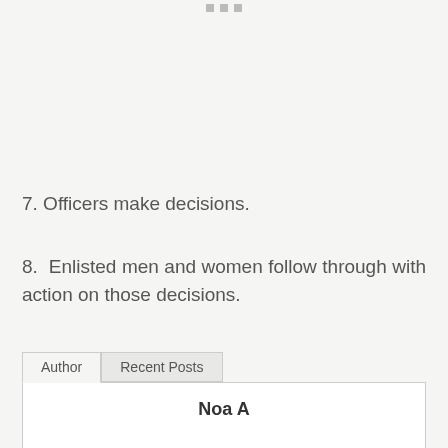7. Officers make decisions.
8. Enlisted men and women follow through with action on those decisions.
Author | Recent Posts
Noa A